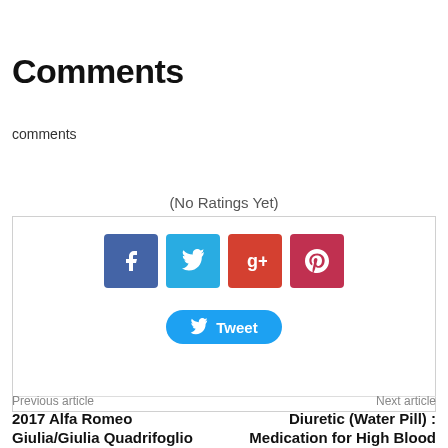Comments
comments
(No Ratings Yet)
[Figure (infographic): Social sharing buttons: Facebook (blue), Twitter (light blue), Google+ (orange-red), Pinterest (dark red), and a Tweet button (blue pill shape with Twitter bird icon)]
Previous article
Next article
2017 Alfa Romeo Giulia/Giulia Quadrifoglio with US Specifications : Truly a Masterpiece
Diuretic (Water Pill) : Medication for High Blood Pressure